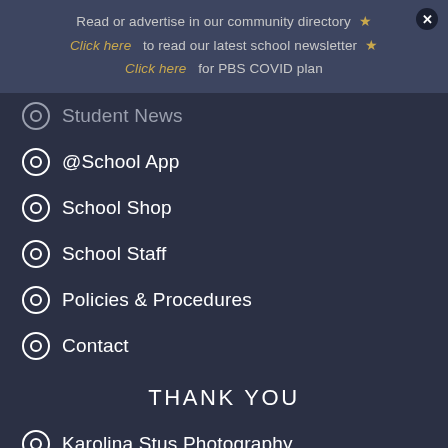Read or advertise in our community directory ★ ✕
Click here  to read our latest school newsletter ★
Click here  for PBS COVID plan
Student News
@School App
School Shop
School Staff
Policies & Procedures
Contact
THANK YOU
Karolina Stus Photography
Anthea Evelyn Design
Help Me Net NZ Websites
SCHOOL HOURS